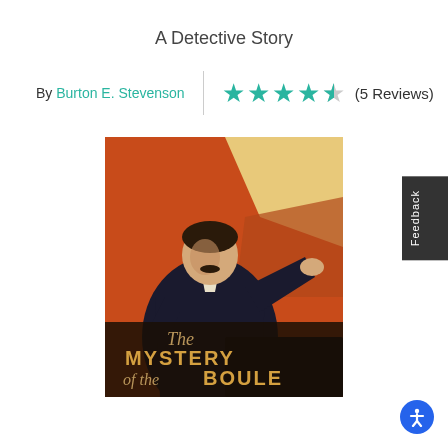A Detective Story
By Burton E. Stevenson
(5 Reviews)
[Figure (illustration): Book cover of 'The Mystery of the Boule' showing a man in a dark suit against an orange and tan background, with stylized text at the bottom reading 'The Mystery of the Boule']